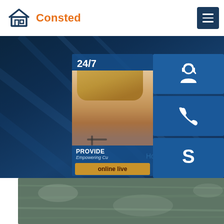[Figure (logo): Consted logo with house icon in dark blue and orange text]
[Figure (screenshot): Hero banner with dark navy blue background showing stainless steel recta... plate 317l title text and Home >> AH36 steel breadcrumb, with 24/7 customer service panel and contact icon buttons on the right side]
stainless steel recta... plate 317l
Home >> AH36 steel
[Figure (photo): Close-up photo of stainless steel plate surface showing metallic gray-green texture]